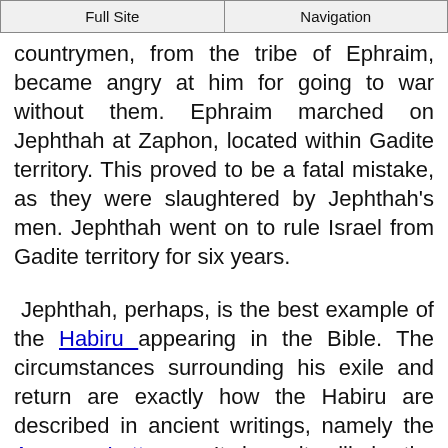Full Site | Navigation
countrymen, from the tribe of Ephraim, became angry at him for going to war without them. Ephraim marched on Jephthah at Zaphon, located within Gadite territory. This proved to be a fatal mistake, as they were slaughtered by Jephthah's men. Jephthah went on to rule Israel from Gadite territory for six years.
Jephthah, perhaps, is the best example of the Habiru appearing in the Bible. The circumstances surrounding his exile and return are exactly how the Habiru are described in ancient writings, namely the Amarna Letters . It is quite likely the Israelites were viewed as Habiru by the other nations, and Jephthah provides a clear cut example of the similarities between the Habiru and the Hebrews.